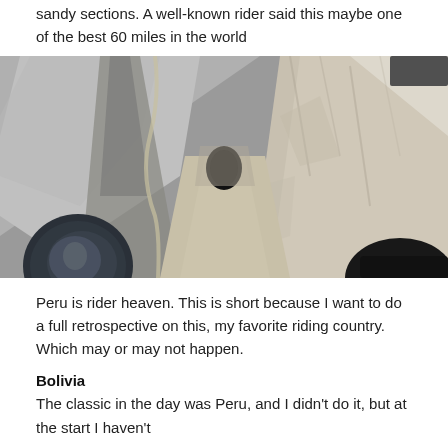sandy sections. A well-known rider said this maybe one of the best 60 miles in the world
[Figure (photo): Motorcycle rider's point-of-view shot on a narrow mountain road approaching a tunnel carved into rocky cliffs, with dramatic mountainous terrain on the left side]
Peru is rider heaven. This is short because I want to do a full retrospective on this, my favorite riding country. Which may or may not happen.
Bolivia
The classic in the day was Peru, and I didn't do it, but at the start I haven't...